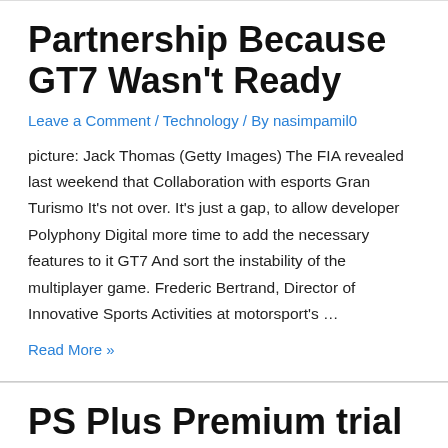Partnership Because GT7 Wasn't Ready
Leave a Comment / Technology / By nasimpamil0
picture: Jack Thomas (Getty Images) The FIA revealed last weekend that Collaboration with esports Gran Turismo It's not over. It's just a gap, to allow developer Polyphony Digital more time to add the necessary features to it GT7 And sort the instability of the multiplayer game. Frederic Bertrand, Director of Innovative Sports Activities at motorsport's …
Read More »
PS Plus Premium trial requirements baffling for